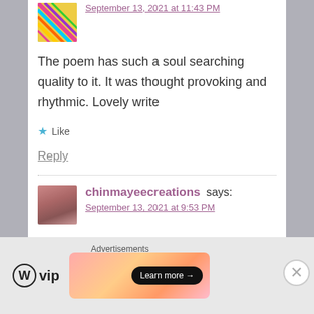September 13, 2021 at 11:43 PM
The poem has such a soul searching quality to it. It was thought provoking and rhythmic. Lovely write
Like
Reply
chinmayeecreations says:
September 13, 2021 at 9:53 PM
Advertisements
Learn more →